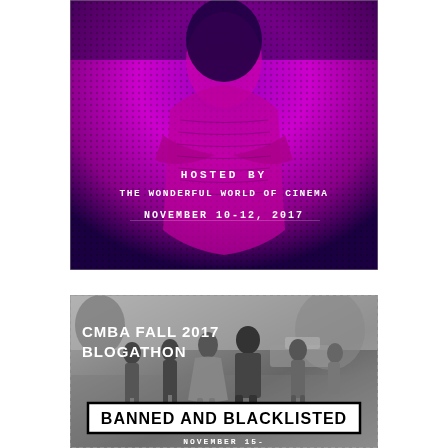[Figure (illustration): Top image: magenta and dark blue stylized figure of a woman with arms crossed, wearing a knit sweater. Text overlay reads 'HOSTED BY / THE WONDERFUL WORLD OF CINEMA / NOVEMBER 10-12, 2017']
[Figure (photo): Bottom image: black and white photo of a group of people walking outdoors. Text overlay: 'CMBA FALL 2017 BLOGATHON' in white block letters and 'BANNED AND BLACKLISTED' in black letters on white banner at bottom. Partially cut off text at very bottom appears to read 'NOVEMBER 15-18']